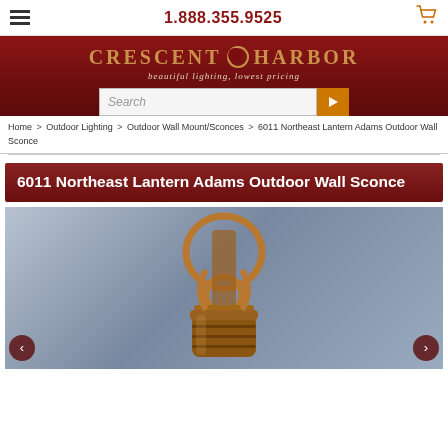1.888.355.9525
[Figure (logo): Crescent Harbor logo with tagline 'beautiful lighting, lowest pricing' on dark red background with search bar]
Home > Outdoor Lighting > Outdoor Wall Mount/Sconces > 6011 Northeast Lantern Adams Outdoor Wall Sconce
6011 Northeast Lantern Adams Outdoor Wall Sconce
[Figure (photo): Product photo of 6011 Northeast Lantern Adams Outdoor Wall Sconce - a copper/bronze outdoor wall lantern with circular scroll bracket and cylindrical bottom, shown against a blue-grey gradient background]